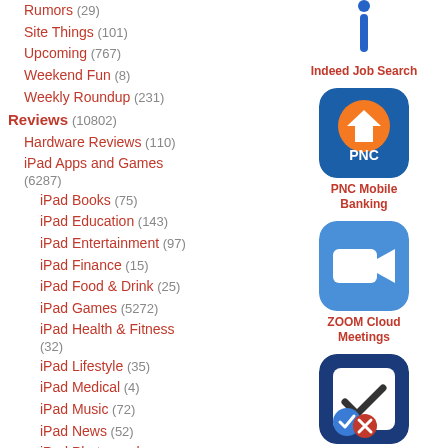Rumors (29)
Site Things (101)
Upcoming (767)
Weekend Fun (8)
Weekly Roundup (231)
Reviews (10802)
Hardware Reviews (110)
iPad Apps and Games (6287)
iPad Books (75)
iPad Education (143)
iPad Entertainment (97)
iPad Finance (15)
iPad Food & Drink (25)
iPad Games (5272)
iPad Health & Fitness (32)
iPad Lifestyle (35)
iPad Medical (4)
iPad Music (72)
iPad News (52)
iPad Photography (123)
iPad Productivity (186)
iPad Reference (26)
[Figure (illustration): Indeed Job Search app icon - blue and white 'i' letter icon]
Indeed Job Search
[Figure (illustration): PNC Mobile Banking app icon - blue background with orange arrow logo and PNC text]
PNC Mobile Banking
[Figure (illustration): ZOOM Cloud Meetings app icon - blue background with white video camera icon]
ZOOM Cloud Meetings
[Figure (illustration): Things 3 app icon - white checkbox with dark checkmark, blue circle with checkmark and red X overlay]
Things 3
[Figure (illustration): Partial app icon at bottom - colorful cartoon character, partially visible]